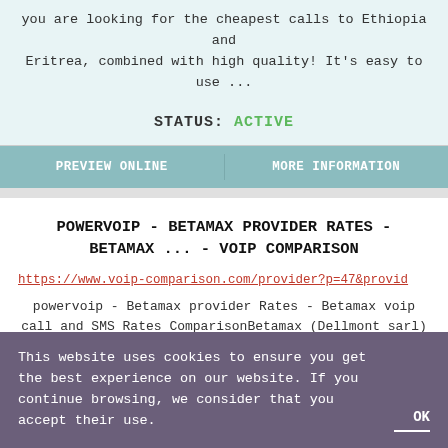you are looking for the cheapest calls to Ethiopia and Eritrea, combined with high quality! It's easy to use ...
STATUS: ACTIVE
PREVIEW ONLINE   MORE INFORMATION
POWERVOIP - BETAMAX PROVIDER RATES - BETAMAX ... - VOIP COMPARISON
https://www.voip-comparison.com/provider?p=47&provid
powervoip - Betamax provider Rates - Betamax voip call and SMS Rates ComparisonBetamax (Dellmont sarl) is a provider many voip products. And offer low ...
This website uses cookies to ensure you get the best experience on our website. If you continue browsing, we consider that you accept their use.